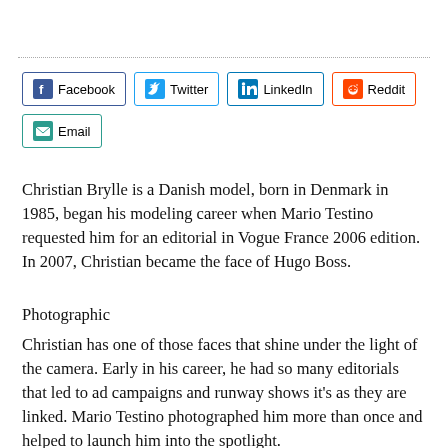[Figure (infographic): Row of social media share buttons: Facebook, Twitter, LinkedIn, Reddit, Email]
Christian Brylle is a Danish model, born in Denmark in 1985, began his modeling career when Mario Testino requested him for an editorial in Vogue France 2006 edition. In 2007, Christian became the face of Hugo Boss.
Photographic
Christian has one of those faces that shine under the light of the camera. Early in his career, he had so many editorials that led to ad campaigns and runway shows it's as they are linked. Mario Testino photographed him more than once and helped to launch him into the spotlight.